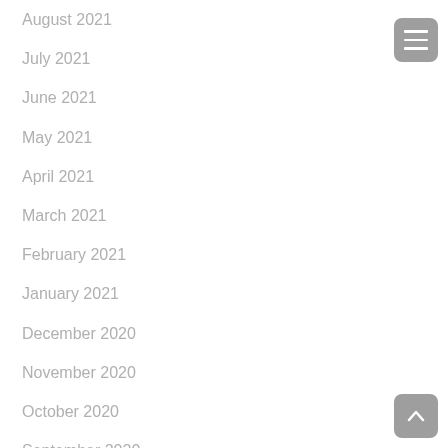August 2021
July 2021
June 2021
May 2021
April 2021
March 2021
February 2021
January 2021
December 2020
November 2020
October 2020
September 2020
August 2020
July 2020
June 2020
May 2020
April 2020
March 2020